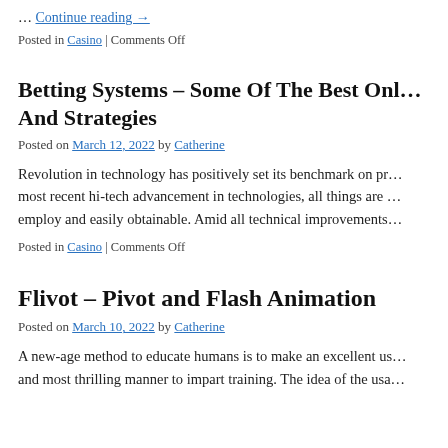… Continue reading →
Posted in Casino | Comments Off
Betting Systems – Some Of The Best Onl… And Strategies
Posted on March 12, 2022 by Catherine
Revolution in technology has positively set its benchmark on pr… most recent hi-tech advancement in technologies, all things are … employ and easily obtainable. Amid all technical improvements…
Posted in Casino | Comments Off
Flivot – Pivot and Flash Animation
Posted on March 10, 2022 by Catherine
A new-age method to educate humans is to make an excellent us… and most thrilling manner to impart training. The idea of the usa…